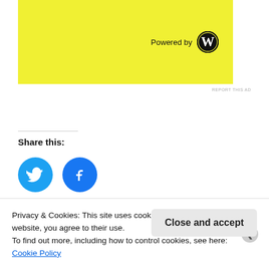[Figure (logo): Yellow WordPress ad banner with 'Powered by' text and WordPress circular logo]
REPORT THIS AD
Share this:
[Figure (other): Twitter share button - blue circle with bird icon]
[Figure (other): Facebook share button - blue circle with f icon]
Loading...
Privacy & Cookies: This site uses cookies. By continuing to use this website, you agree to their use.
To find out more, including how to control cookies, see here:
Cookie Policy
Close and accept